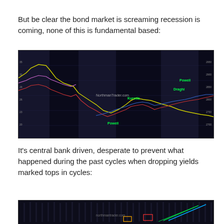But be clear the bond market is screaming recession is coming, none of this is fundamental based:
[Figure (continuous-plot): Dark background multi-line financial chart from NorthmanTrader.com showing bond yields and market indices over time. Yellow line shows one series, red/blue/pink lines show other series. Labels include 'Powell', 'Draghi', 'Kuroda' in green text indicating central bank periods. Shaded vertical bands mark specific time periods.]
It's central bank driven, desperate to prevent what happened during the past cycles when dropping yields marked tops in cycles:
[Figure (continuous-plot): Dark background financial chart from northmantrader.com showing market cycle tops marked with green and cyan diagonal lines/arrows, with red/yellow rectangular annotations indicating yield cycle tops. Partial view — chart is cut off at bottom of page.]